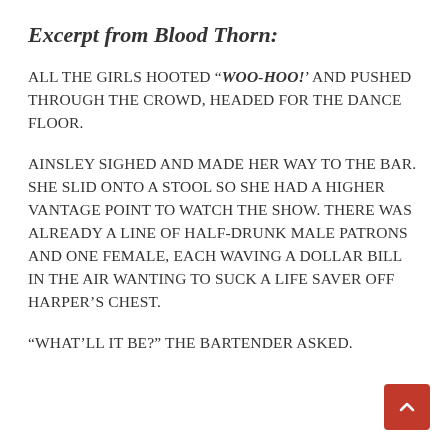Excerpt from Blood Thorn:
ALL THE GIRLS HOOTED “WOO-HOO!’ AND PUSHED THROUGH THE CROWD, HEADED FOR THE DANCE FLOOR.
AINSLEY SIGHED AND MADE HER WAY TO THE BAR. SHE SLID ONTO A STOOL SO SHE HAD A HIGHER VANTAGE POINT TO WATCH THE SHOW. THERE WAS ALREADY A LINE OF HALF-DRUNK MALE PATRONS AND ONE FEMALE, EACH WAVING A DOLLAR BILL IN THE AIR WANTING TO SUCK A LIFE SAVER OFF HARPER’S CHEST.
“WHAT’LL IT BE?” THE BARTENDER ASKED.